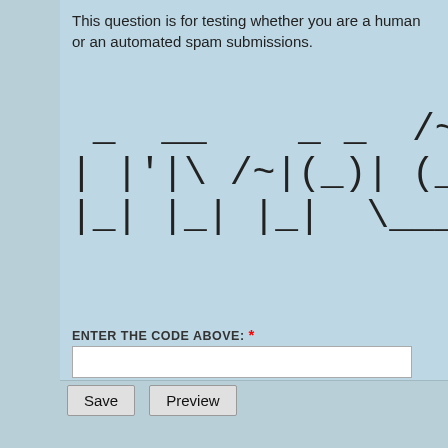This question is for testing whether you are a human or an automated spam submissions.
[Figure (other): ASCII art CAPTCHA showing letters/numbers in large dashed/outlined style characters]
ENTER THE CODE ABOVE: *
Enter the code depicted in ASCII art style.
Save   Preview